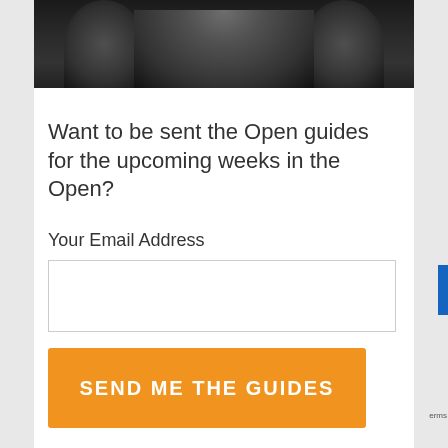[Figure (photo): Black and white photo of a person's torso/shoulders, cropped at top of page]
Want to be sent the Open guides for the upcoming weeks in the Open?
Your Email Address
SEND ME THE GUIDES